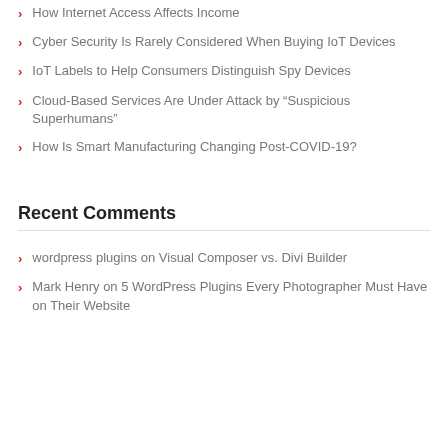How Internet Access Affects Income
Cyber Security Is Rarely Considered When Buying IoT Devices
IoT Labels to Help Consumers Distinguish Spy Devices
Cloud-Based Services Are Under Attack by “Suspicious Superhumans”
How Is Smart Manufacturing Changing Post-COVID-19?
Recent Comments
wordpress plugins on Visual Composer vs. Divi Builder
Mark Henry on 5 WordPress Plugins Every Photographer Must Have on Their Website